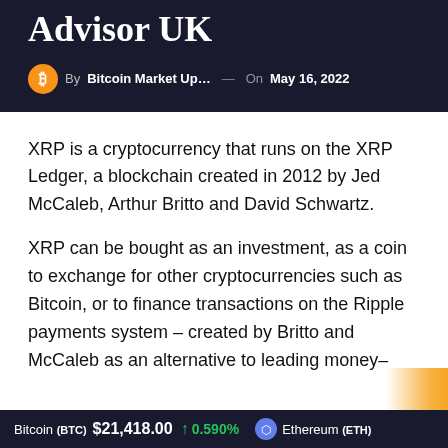Advisor UK
By Bitcoin Market Up… — On May 16, 2022
XRP is a cryptocurrency that runs on the XRP Ledger, a blockchain created in 2012 by Jed McCaleb, Arthur Britto and David Schwartz.
XRP can be bought as an investment, as a coin to exchange for other cryptocurrencies such as Bitcoin, or to finance transactions on the Ripple payments system – created by Britto and McCaleb as an alternative to leading money–
Bitcoin (BTC) $21,418.00 ↑ 0.590%   Ethereum (ETH)